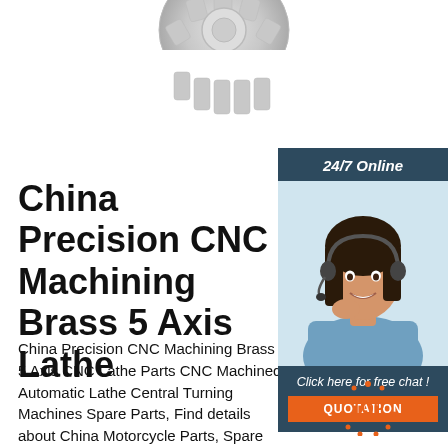[Figure (photo): Metallic gear/sprocket component, partially visible at top center of page, silver/grey color]
[Figure (photo): Customer service representative with headset smiling, with '24/7 Online' banner above and 'Click here for free chat! QUOTATION' button below]
China Precision CNC Machining Brass 5 Axis Lathe
China Precision CNC Machining Brass 5 Axis CNC Lathe Parts CNC Machined Automatic Lathe Central Turning Machines Spare Parts, Find details about China Motorcycle Parts, Spare Part from Precision CNC Machining Brass 5 Axis CNC Lathe Parts CNC Machined Automatic Lathe Central Turning Machines Spare Parts - Dongguan Sinyi Precision Metal Co.,